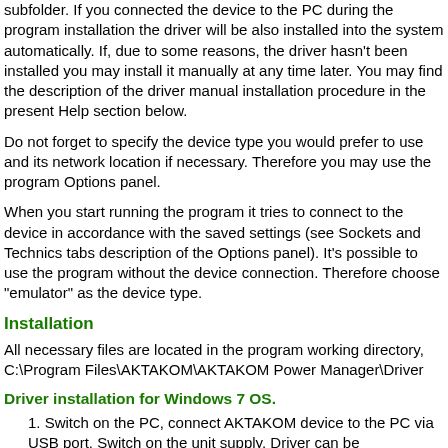subfolder. If you connected the device to the PC during the program installation the driver will be also installed into the system automatically. If, due to some reasons, the driver hasn't been installed you may install it manually at any time later. You may find the description of the driver manual installation procedure in the present Help section below.
Do not forget to specify the device type you would prefer to use and its network location if necessary. Therefore you may use the program Options panel.
When you start running the program it tries to connect to the device in accordance with the saved settings (see Sockets and Technics tabs description of the Options panel). It's possible to use the program without the device connection. Therefore choose "emulator" as the device type.
Installation
All necessary files are located in the program working directory, C:\Program Files\AKTAKOM\AKTAKOM Power Manager\Driver
Driver installation for Windows 7 OS.
1. Switch on the PC, connect AKTAKOM device to the PC via USB port. Switch on the unit supply. Driver can be